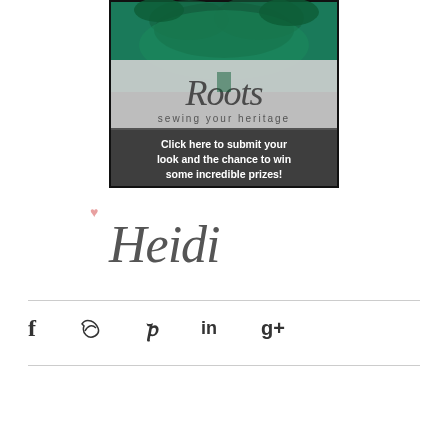[Figure (illustration): Roots sewing your heritage promotional banner with green tree on dark green background, gray band with script text 'Roots sewing your heritage', and dark gray band with white text 'Click here to submit your look and the chance to win some incredible prizes!']
[Figure (illustration): Handwritten signature 'Heidi' in cursive script with a small pink heart to the upper left]
[Figure (illustration): Social media sharing icons: Facebook (f), Twitter (bird), Pinterest (P), LinkedIn (in), Google+ (g+)]